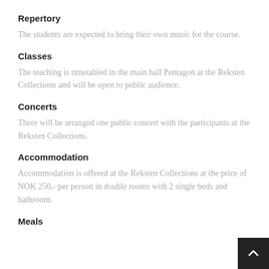Repertory
The students are expected to bring their own music for the course.
Classes
The teaching is timetabled in the main hall Pentagon at the Reksten Collections and will be open to public audience.
Concerts
There will be arranged one public concert with the participants at the Reksten Collections.
Accommodation
Accommodation is offered at the Reksten Collections at the price of NOK 250,- per person in double rooms with 2 single beds and bathroom.
Meals